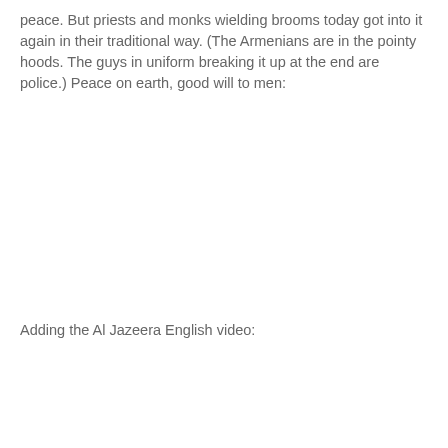peace. But priests and monks wielding brooms today got into it again in their traditional way. (The Armenians are in the pointy hoods. The guys in uniform breaking it up at the end are police.) Peace on earth, good will to men:
[Figure (other): Embedded video placeholder (blank white area)]
Adding the Al Jazeera English video:
[Figure (other): Embedded video placeholder (blank white area)]